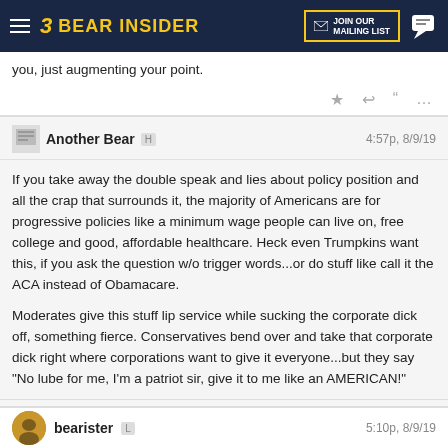Bear Insider — JOIN OUR MAILING LIST
you, just augmenting your point.
Another Bear H  4:57p, 8/9/19
If you take away the double speak and lies about policy position and all the crap that surrounds it, the majority of Americans are for progressive policies like a minimum wage people can live on, free college and good, affordable healthcare. Heck even Trumpkins want this, if you ask the question w/o trigger words...or do stuff like call it the ACA instead of Obamacare.

Moderates give this stuff lip service while sucking the corporate dick off, something fierce. Conservatives bend over and take that corporate dick right where corporations want to give it everyone...but they say "No lube for me, I'm a patriot sir, give it to me like an AMERICAN!"
bearister L  5:10p, 8/9/19